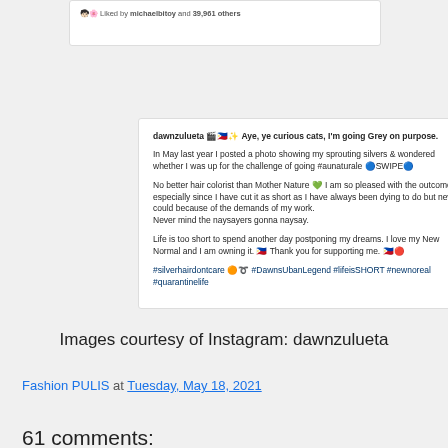[Figure (screenshot): Instagram screenshot showing a post by dawnzulueta about going grey naturally, with caption text about silver hair and hashtags including #silverhairdontcare #DawnsUbanLegend #lifeisSHORT #newnoreal #quarantinelife]
Images courtesy of Instagram: dawnzulueta
Fashion PULIS at Tuesday, May 18, 2021
Share
61 comments:
Anonymous May 18, 2021 at 12:11 AM
Ganda, but yung patilla, super kanal kaya medyo weird